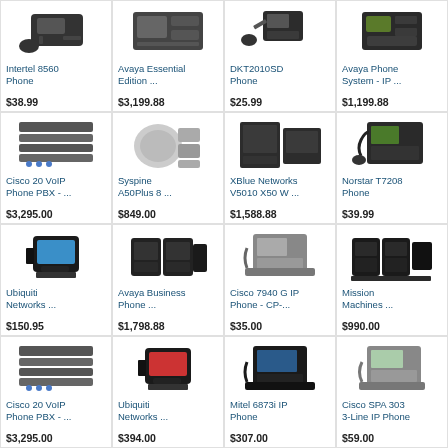[Figure (photo): Intertel 8560 Phone product image]
Intertel 8560 Phone
$38.99
[Figure (photo): Avaya Essential Edition phone system product image]
Avaya Essential Edition ...
$3,199.88
[Figure (photo): DKT2010SD Phone product image]
DKT2010SD Phone
$25.99
[Figure (photo): Avaya Phone System - IP product image]
Avaya Phone System - IP ...
$1,199.88
[Figure (photo): Cisco 20 VoIP Phone PBX system product image]
Cisco 20 VoIP Phone PBX - ...
$3,295.00
[Figure (photo): Syspine A50Plus 8 product image]
Syspine A50Plus 8 ...
$849.00
[Figure (photo): XBlue Networks V5010 X50 W product image]
XBlue Networks V5010 X50 W ...
$1,588.88
[Figure (photo): Norstar T7208 Phone product image]
Norstar T7208 Phone
$39.99
[Figure (photo): Ubiquiti Networks phone product image]
Ubiquiti Networks ...
$150.95
[Figure (photo): Avaya Business Phone system product image]
Avaya Business Phone ...
$1,798.88
[Figure (photo): Cisco 7940 G IP Phone CP product image]
Cisco 7940 G IP Phone - CP-...
$35.00
[Figure (photo): Mission Machines phone system product image]
Mission Machines ...
$990.00
[Figure (photo): Cisco 20 VoIP Phone PBX system product image]
Cisco 20 VoIP Phone PBX - ...
$3,295.00
[Figure (photo): Ubiquiti Networks phone product image]
Ubiquiti Networks ...
$394.00
[Figure (photo): Mitel 6873i IP Phone product image]
Mitel 6873i IP Phone
$307.00
[Figure (photo): Cisco SPA 303 3-Line IP Phone product image]
Cisco SPA 303 3-Line IP Phone
$59.00